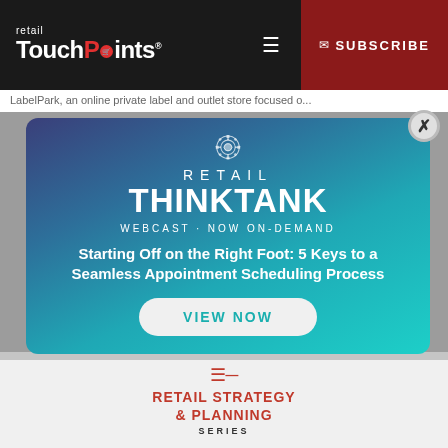retail TouchPoints® ☰ SUBSCRIBE
LabelPark, an online private label and outlet store focused o...
[Figure (screenshot): Retail ThinkTank webcast modal popup with gradient blue background, brain/gear icon, text 'RETAIL THINKTANK', 'WEBCAST · NOW ON-DEMAND', 'Starting Off on the Right Foot: 5 Keys to a Seamless Appointment Scheduling Process', and a VIEW NOW button]
RETAIL STRATEGY & PLANNING
SERIES